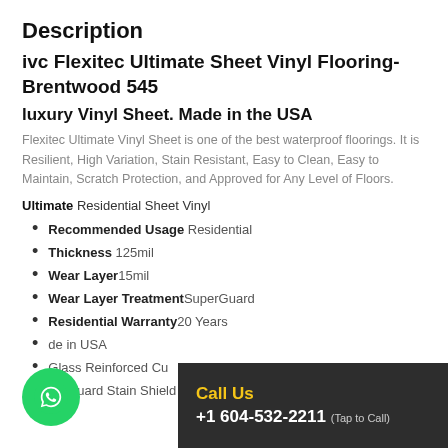Description
ivc Flexitec Ultimate Sheet Vinyl Flooring-Brentwood 545
luxury Vinyl Sheet. Made in the USA
Flexitec Ultimate Vinyl Sheet is one of the best waterproof floorings. It is Resilient, High Variation, Stain Resistant, Easy to Clean, Easy to Maintain, Scratch Protection, and Approved for Any Level of Floors.
Ultimate Residential Sheet Vinyl
Recommended Usage Residential
Thickness 125mil
Wear Layer 15mil
Wear Layer Treatment SuperGuard
Residential Warranty 20 Years
Made in USA
Glass Reinforced Cu...
SuperGuard Stain Shield
Call Us
+1 604-532-2211 (Tap to Call)